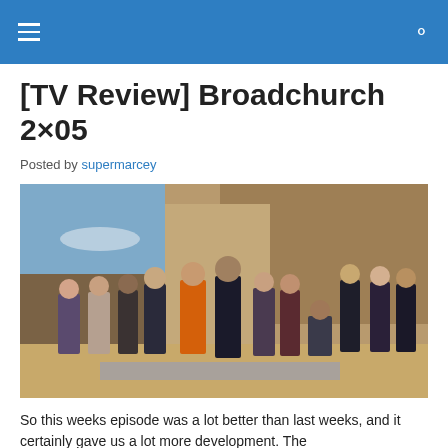[navigation bar with hamburger menu and search icon]
[TV Review] Broadchurch 2×05
Posted by supermarcey
[Figure (photo): Cast of Broadchurch season 2 posed on a beach in front of a rocky cliff, with blue wildflowers at their feet. The group of about 12 people are dressed in casual and professional attire; a woman in an orange jacket and a man in a dark suit stand centrally.]
So this weeks episode was a lot better than last weeks, and it certainly gave us a lot more development. The